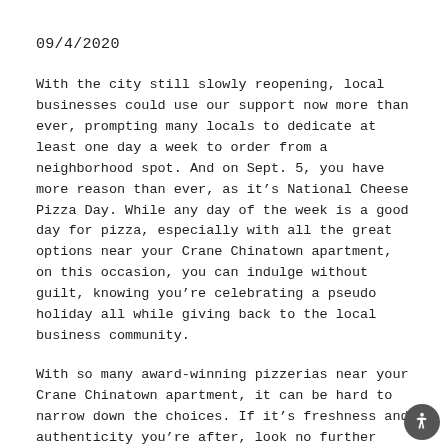09/4/2020
With the city still slowly reopening, local businesses could use our support now more than ever, prompting many locals to dedicate at least one day a week to order from a neighborhood spot. And on Sept. 5, you have more reason than ever, as it's National Cheese Pizza Day. While any day of the week is a good day for pizza, especially with all the great options near your Crane Chinatown apartment, on this occasion, you can indulge without guilt, knowing you're celebrating a pseudo holiday all while giving back to the local business community.
With so many award-winning pizzerias near your Crane Chinatown apartment, it can be hard to narrow down the choices. If it's freshness and authenticity you're after, look no further than Wood Street. The